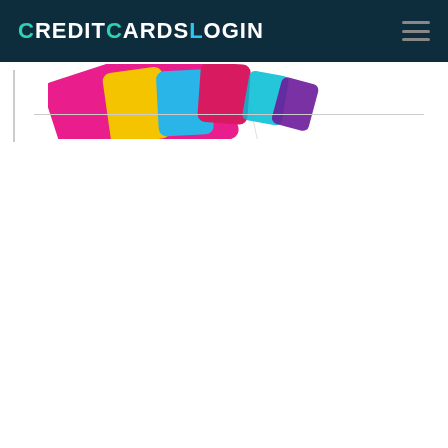CreditCardsLogin
[Figure (illustration): Partial view of colorful credit cards fanned out, showing bright colors including pink, yellow, blue, and teal, partially cropped at the top of the content area]